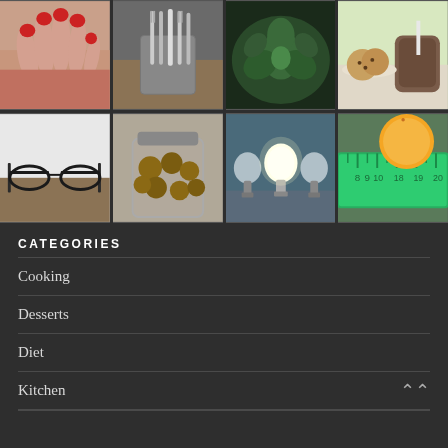[Figure (photo): Grid of 8 photos arranged in 2 rows of 4: Row 1: hands with red nail polish, silverware/utensils in a holder, green succulent plant, cookies and chocolate drink. Row 2: eyeglasses on a wooden surface, glass jar with nuts/coffee beans, light bulbs with one glowing, orange with green measuring tape.]
CATEGORIES
Cooking
Desserts
Diet
Kitchen